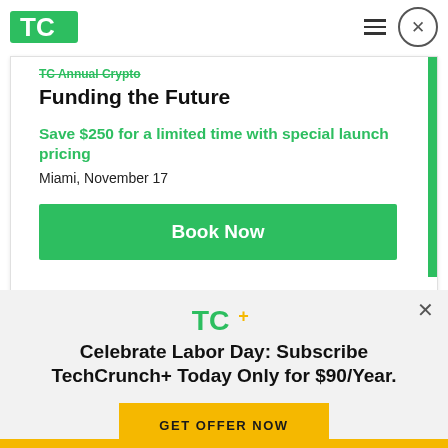TechCrunch logo, hamburger menu, close button
Funding the Future
Save $250 for a limited time with special launch pricing
Miami, November 17
Book Now
[Figure (logo): TC+ logo in green with yellow plus sign]
Celebrate Labor Day: Subscribe TechCrunch+ Today Only for $90/Year.
GET OFFER NOW